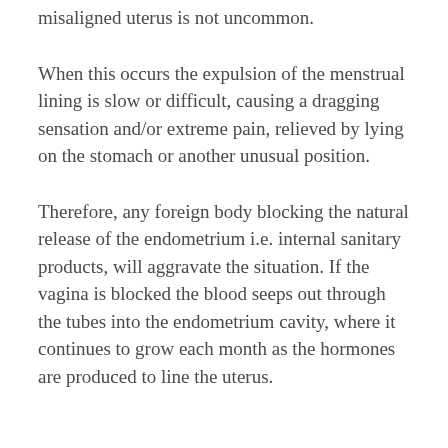misaligned uterus is not uncommon.
When this occurs the expulsion of the menstrual lining is slow or difficult, causing a dragging sensation and/or extreme pain, relieved by lying on the stomach or another unusual position.
Therefore, any foreign body blocking the natural release of the endometrium i.e. internal sanitary products, will aggravate the situation. If the vagina is blocked the blood seeps out through the tubes into the endometrium cavity, where it continues to grow each month as the hormones are produced to line the uterus.